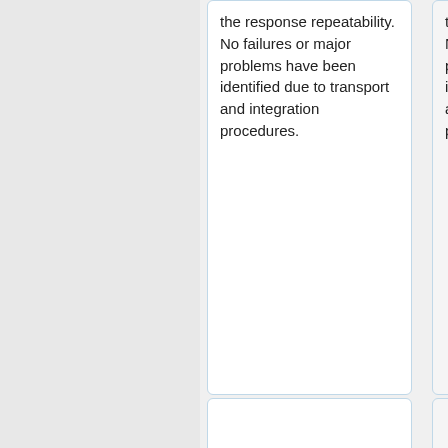the response repeatability. No failures or major problems have been identified due to transport and integration procedures.
the response repeatability. No failures or major problems have been identified due to transport and integration procedures.
The expected Planck LFI scientific performance, resulting mainly from cryogenic system level tests, are described in <cite>#mennella2010</cite> {{PPreLaunch|5}
The expected Planck LFI scientific performance, resulting mainly from cryogenic system level tests, are described in {{PlanckPapers|mennella2010}}.